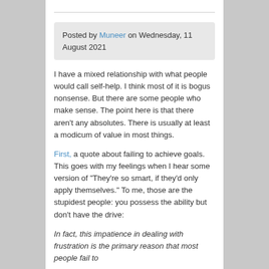Posted by Muneer on Wednesday, 11 August 2021
I have a mixed relationship with what people would call self-help. I think most of it is bogus nonsense. But there are some people who make sense. The point here is that there aren't any absolutes. There is usually at least a modicum of value in most things.
First, a quote about failing to achieve goals. This goes with my feelings when I hear some version of "They're so smart, if they'd only apply themselves." To me, those are the stupidest people: you possess the ability but don't have the drive:
In fact, this impatience in dealing with frustration is the primary reason that most people fail to